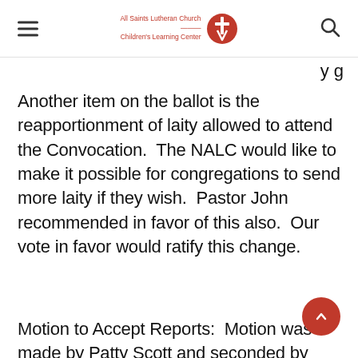All Saints Lutheran Church / Children's Learning Center
Another item on the ballot is the reapportionment of laity allowed to attend the Convocation.  The NALC would like to make it possible for congregations to send more laity if they wish.  Pastor John recommended in favor of this also.  Our vote in favor would ratify this change.
Motion to Accept Reports:  Motion was made by Patty Scott and seconded by Dave Gustafson to accept all reports as presented.  Motion passed by a unanimous show of